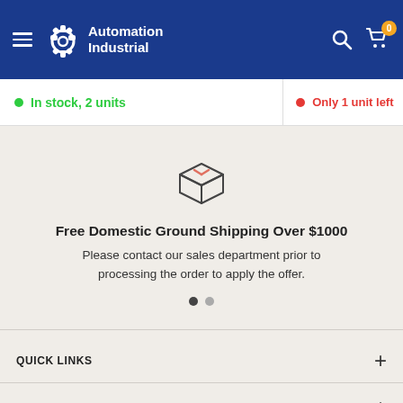[Figure (logo): Automation Industrial logo with gear icon on dark blue header bar with hamburger menu, search icon, and cart icon with badge 0]
In stock, 2 units
Only 1 unit left
[Figure (illustration): Package/shipping box icon with orange stripe]
Free Domestic Ground Shipping Over $1000
Please contact our sales department prior to processing the order to apply the offer.
QUICK LINKS
GET IN TOUCH